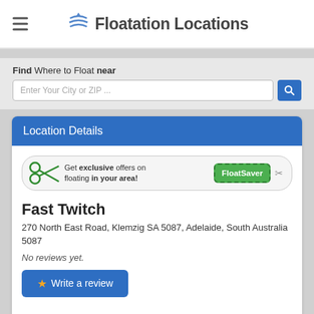Floatation Locations
Find Where to Float near
Enter Your City or ZIP ...
Location Details
[Figure (other): FloatSaver coupon banner: scissors icon, text 'Get exclusive offers on floating in your area!', green FloatSaver button]
Fast Twitch
270 North East Road, Klemzig SA 5087, Adelaide, South Australia 5087
No reviews yet.
★ Write a review
(08) 8261 1299